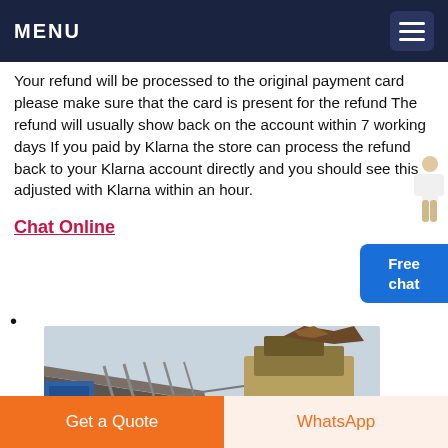MENU
Your refund will be processed to the original payment card please make sure that the card is present for the refund The refund will usually show back on the account within 7 working days If you paid by Klarna the store can process the refund back to your Klarna account directly and you should see this adjusted with Klarna within an hour.
Chat Online
[Figure (photo): Industrial mining/crushing machinery with conveyor belts and a large crusher, workers visible in the foreground.]
Get a Quote | WhatsApp